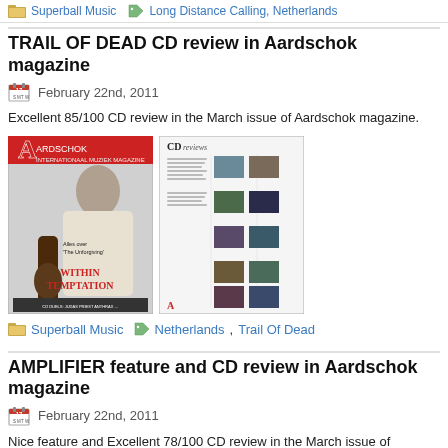Superball Music   Long Distance Calling, Netherlands
TRAIL OF DEAD CD review in Aardschok magazine
February 22nd, 2011
Excellent 85/100 CD review in the March issue of Aardschok magazine.
[Figure (photo): Two magazine images: Aardschok magazine cover featuring Within Temptation, and a CD reviews page from Aardschok magazine]
Superball Music   Netherlands, Trail Of Dead
AMPLIFIER feature and CD review in Aardschok magazine
February 22nd, 2011
Nice feature and Excellent 78/100 CD review in the March issue of Aardschok ma
[Figure (photo): Three magazine images at bottom: Aardschok cover, Amplifier feature page, and CD reviews page]